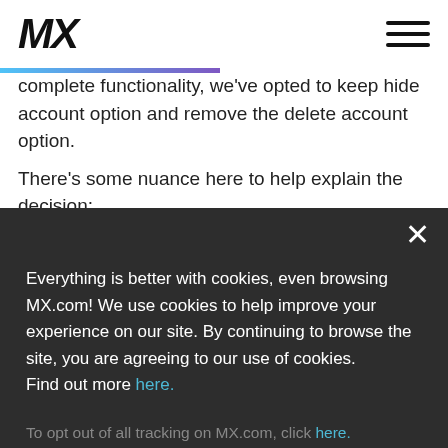MX
complete functionality, we've opted to keep hide account option and remove the delete account option. There's some nuance here to help explain the decision:
[Figure (screenshot): Dark cookie consent modal overlay with close button (×), main cookie notice text with 'here.' link in blue, and opt-out tracking text with 'here.' link in blue.]